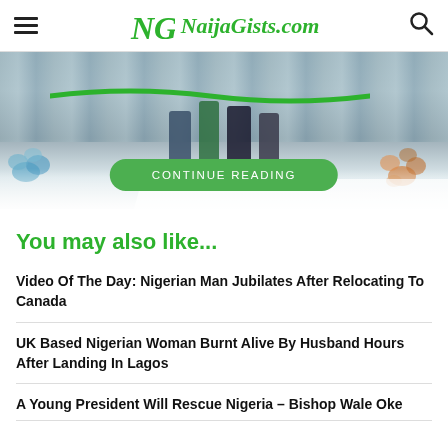NaijaGists.com
[Figure (photo): Partial view of people standing in a decorated outdoor venue with flowers and a green ribbon, bottom portion of persons visible. A green 'CONTINUE READING' button overlaid at the bottom.]
You may also like...
Video Of The Day: Nigerian Man Jubilates After Relocating To Canada
UK Based Nigerian Woman Burnt Alive By Husband Hours After Landing In Lagos
A Young President Will Rescue Nigeria – Bishop Wale Oke